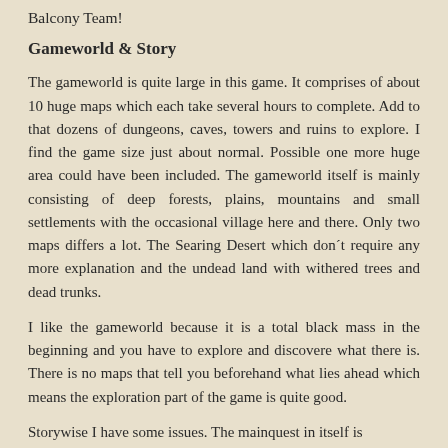Balcony Team!
Gameworld & Story
The gameworld is quite large in this game. It comprises of about 10 huge maps which each take several hours to complete. Add to that dozens of dungeons, caves, towers and ruins to explore. I find the game size just about normal. Possible one more huge area could have been included. The gameworld itself is mainly consisting of deep forests, plains, mountains and small settlements with the occasional village here and there. Only two maps differs a lot. The Searing Desert which don´t require any more explanation and the undead land with withered trees and dead trunks.
I like the gameworld because it is a total black mass in the beginning and you have to explore and discovere what there is. There is no maps that tell you beforehand what lies ahead which means the exploration part of the game is quite good.
Storywise I have some issues. The mainquest in itself is